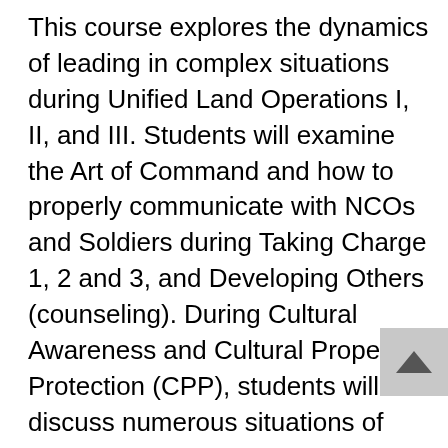This course explores the dynamics of leading in complex situations during Unified Land Operations I, II, and III. Students will examine the Art of Command and how to properly communicate with NCOs and Soldiers during Taking Charge 1, 2 and 3, and Developing Others (counseling). During Cultural Awareness and Cultural Property Protection (CPP), students will discuss numerous situations of how ethical decisions impact personnel and the unit mission. Through the understanding of roles and responsibilities, students will learn how Comprehensive Soldier Fitness (CSF), Being Ready and Resilient (R2C), and Individual and Family Readiness can assist them in preparing Soldiers and their Families 1n reducing and managing stress during times of uncertainty. The course places significant emphasis on preparing students for BOLC B and their first unit of assignment. It uses mission